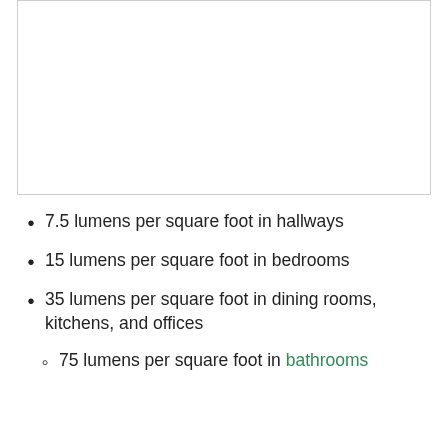[Figure (photo): A white/blank image area with a light gray border, representing a photo or figure placeholder at the top of the page.]
7.5 lumens per square foot in hallways
15 lumens per square foot in bedrooms
35 lumens per square foot in dining rooms, kitchens, and offices
75 lumens per square foot in bathrooms